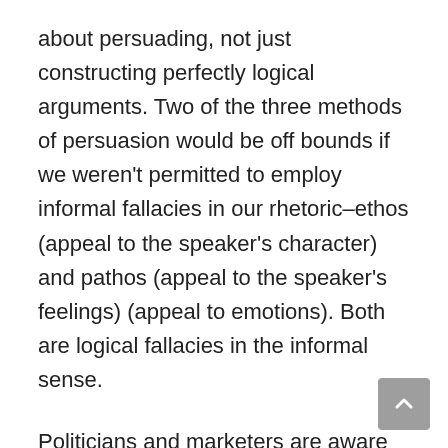about persuading, not just constructing perfectly logical arguments. Two of the three methods of persuasion would be off bounds if we weren't permitted to employ informal fallacies in our rhetoric–ethos (appeal to the speaker's character) and pathos (appeal to the speaker's feelings) (appeal to emotions). Both are logical fallacies in the informal sense.
Politicians and marketers are aware that people are more influenced by emotion than by logic. That's why politicians and advertising often use informal fallacies.